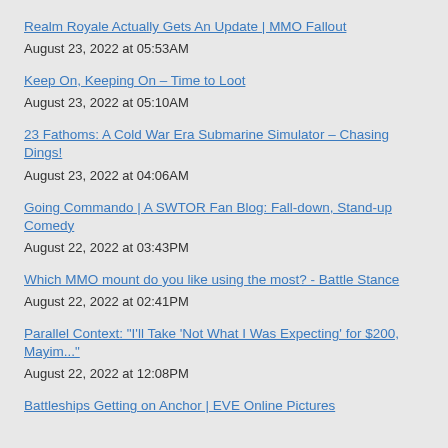Realm Royale Actually Gets An Update | MMO Fallout
August 23, 2022 at 05:53AM
Keep On, Keeping On – Time to Loot
August 23, 2022 at 05:10AM
23 Fathoms: A Cold War Era Submarine Simulator – Chasing Dings!
August 23, 2022 at 04:06AM
Going Commando | A SWTOR Fan Blog: Fall-down, Stand-up Comedy
August 22, 2022 at 03:43PM
Which MMO mount do you like using the most? - Battle Stance
August 22, 2022 at 02:41PM
Parallel Context: "I'll Take 'Not What I Was Expecting' for $200, Mayim..."
August 22, 2022 at 12:08PM
Battleships Getting on Anchor | EVE Online Pictures
August 22, 2022 at 12:08PM